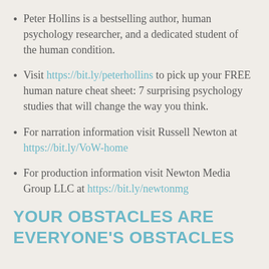Peter Hollins is a bestselling author, human psychology researcher, and a dedicated student of the human condition.
Visit https://bit.ly/peterhollins to pick up your FREE human nature cheat sheet: 7 surprising psychology studies that will change the way you think.
For narration information visit Russell Newton at https://bit.ly/VoW-home
For production information visit Newton Media Group LLC at https://bit.ly/newtonmg
YOUR OBSTACLES ARE EVERYONE'S OBSTACLES